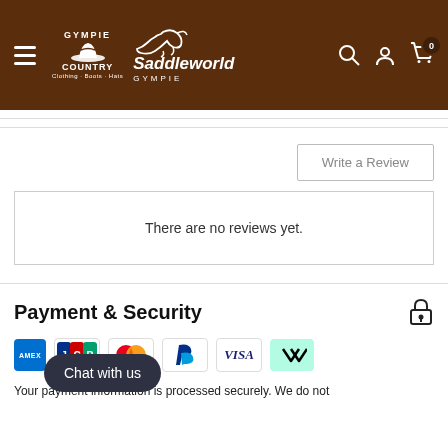[Figure (logo): Gympie Country and Saddleworld Gympie logo on brown header with hamburger menu, search, account and cart icons]
Write a Review
There are no reviews yet.
Payment & Security
[Figure (infographic): Row of payment icons: Amex, JCB, Mastercard, PayPal, Visa, Afterpay]
Your payment information is processed securely. We do not